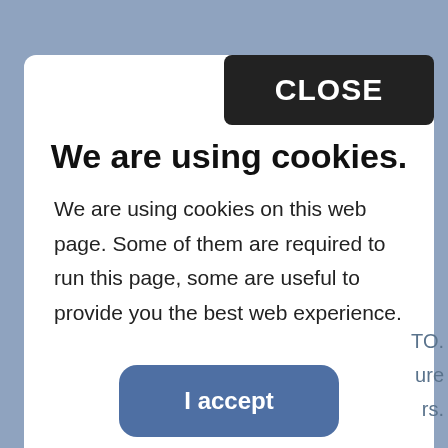[Figure (screenshot): Cookie consent modal dialog overlaying a website background. Background is a muted blue-grey color with partial website content visible on the right edge. The modal is white with a dark 'CLOSE' button, a bold title, descriptive text, and an 'I accept' button.]
We are using cookies.
We are using cookies on this web page. Some of them are required to run this page, some are useful to provide you the best web experience.
I accept